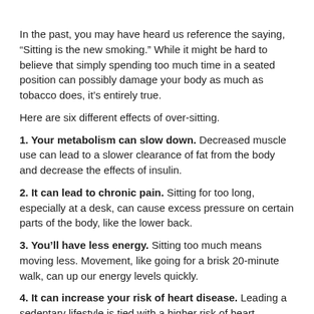In the past, you may have heard us reference the saying, “Sitting is the new smoking.” While it might be hard to believe that simply spending too much time in a seated position can possibly damage your body as much as tobacco does, it’s entirely true.
Here are six different effects of over-sitting.
1. Your metabolism can slow down. Decreased muscle use can lead to a slower clearance of fat from the body and decrease the effects of insulin.
2. It can lead to chronic pain. Sitting for too long, especially at a desk, can cause excess pressure on certain parts of the body, like the lower back.
3. You’ll have less energy. Sitting too much means moving less. Movement, like going for a brisk 20-minute walk, can up our energy levels quickly.
4. It can increase your risk of heart disease. Leading a sedentary lifestyle is tied with a higher risk of heart problems, among other issues.